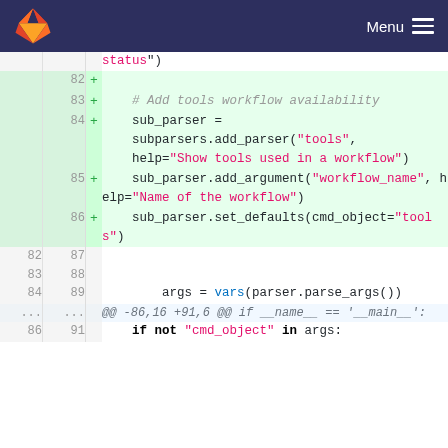GitLab — Menu
[Figure (screenshot): GitLab diff view showing added lines 82-86 with Python code adding tools subparser, and context lines 82-89 and hunk header, plus line 86/91 with 'if not "cmd_object" in args:']